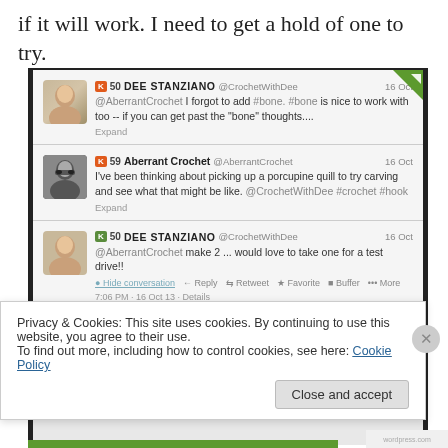if it will work.  I need to get a hold of one to try.
[Figure (screenshot): Screenshot of Twitter conversation between DEE STANZIANO (@CrochetWithDee) and Aberrant Crochet (@AberrantCrochet) on 16 Oct. Three tweets shown: 1) Dee Stanziano: '@AberrantCrochet I forgot to add #bone. #bone is nice to work with too -- if you can get past the "bone" thoughts... Expand' 2) Aberrant Crochet: 'I've been thinking about picking up a porcupine quill to try carving and see what that might be like. @CrochetWithDee #crochet #hook Expand' 3) Dee Stanziano: '@AberrantCrochet make 2 ... would love to take one for a test drive!! Hide conversation Reply Retweet Favorite Buffer More 7:06 PM - 16 Oct 13 Details']
Privacy & Cookies: This site uses cookies. By continuing to use this website, you agree to their use.
To find out more, including how to control cookies, see here: Cookie Policy
Close and accept